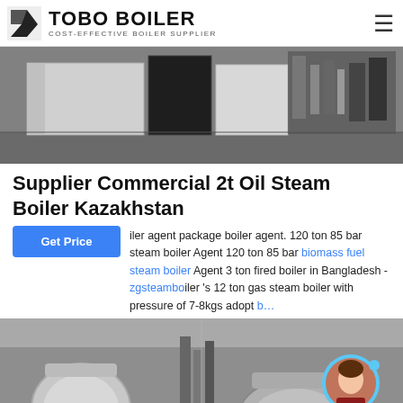TOBO BOILER - COST-EFFECTIVE BOILER SUPPLIER
[Figure (photo): Industrial boiler units in a facility, white and dark colored box-shaped boiler equipment on a concrete floor.]
Supplier Commercial 2t Oil Steam Boiler Kazakhstan
iler agent package boiler agent. 120 ton 85 bar steam boiler Agent 120 ton 85 bar biomass fuel steam boiler Agent 3 ton fired boiler in Bangladesh - zgsteamboiler 's 12 ton gas steam boiler with pressure of 7-8kgs adopt b...
[Figure (photo): Industrial boiler equipment in a factory setting with cylindrical boilers and piping. WhatsApp contact badge overlaid at bottom left. Customer service avatar visible at right.]